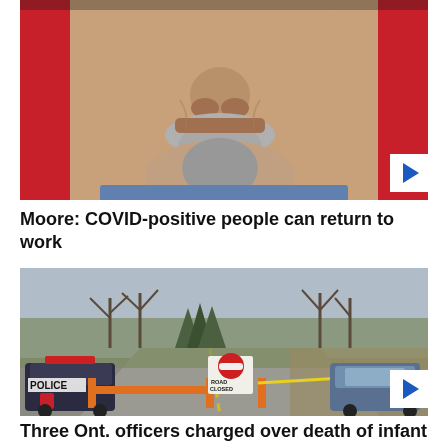[Figure (photo): Close-up of a man's face showing his nose, mouth, and grey goatee mustache, with a red background behind him. Appears to be a politician at a press conference.]
Moore: COVID-positive people can return to work
[Figure (photo): A rural road closed by police. A police cruiser is parked on the left with orange barricades and a 'Road Closed' sign with a red no-entry circle in the center of the road. Bare trees line the background. Another car is parked on the right. Yellow police tape is visible.]
Three Ont. officers charged over death of infant